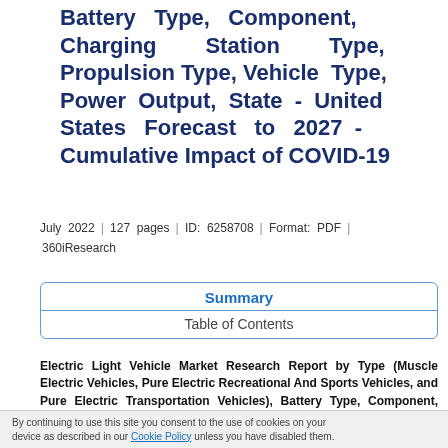Battery Type, Component, Charging Station Type, Propulsion Type, Vehicle Type, Power Output, State - United States Forecast to 2027 - Cumulative Impact of COVID-19
July 2022 | 127 pages | ID: 6258708 | Format: PDF | 360iResearch
Summary
Table of Contents
Electric Light Vehicle Market Research Report by Type (Muscle Electric Vehicles, Pure Electric Recreational And Sports Vehicles, and Pure Electric Transportation Vehicles), Battery Type, Component, Charging Station Type, Propulsion Type, Vehicle Type,
By continuing to use this site you consent to the use of cookies on your device as described in our Cookie Policy unless you have disabled them.